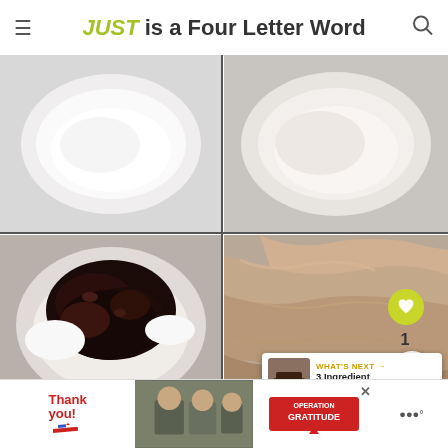JUST is a Four Letter Word
[Figure (photo): Four-panel food photo collage: top-left shows white cream in a bowl, top-right shows flour/cream mixture in a bowl, bottom-left shows dark chocolate/cranberry mixture on white cream in a bowl, bottom-right shows mixed brown batter in bowl]
WHAT'S NEXT → 3 Ingredient Cranberry...
[Figure (photo): Advertisement banner: Thank you with Operation Gratitude military charity ad with close button]